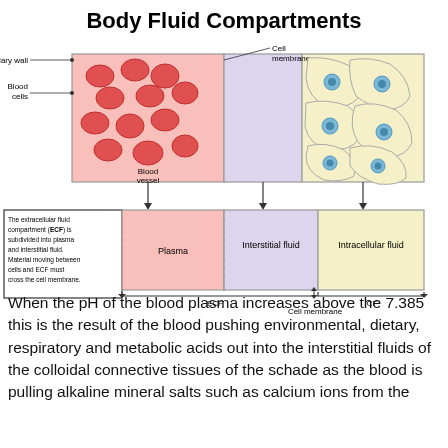Body Fluid Compartments
[Figure (illustration): Diagram showing body fluid compartments: a cross-section with a blood vessel (pink, containing red blood cells) on the left, interstitial fluid space (lavender) in the middle, and intracellular fluid compartment (yellow, with cells) on the right. Labeled: Capillary wall, Blood cells, Blood vessel, Cell membrane. Below: boxes labeled Plasma, Interstitial fluid, Intracellular fluid with ECF/ICF markers and Cell membrane label. A text box explains the extracellular fluid compartment.]
When the pH of the blood plasma increases above the 7.385 this is the result of the blood pushing environmental, dietary, respiratory and metabolic acids out into the interstitial fluids of the colloidal connective tissues of the schade as the blood is pulling alkaline mineral salts such as calcium ions from the